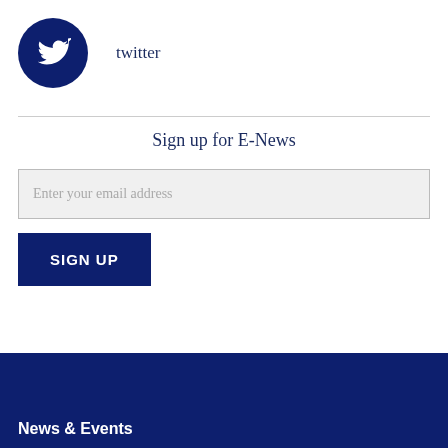[Figure (logo): Dark navy blue circle with white Twitter bird icon]
twitter
Sign up for E-News
Enter your email address
SIGN UP
News & Events